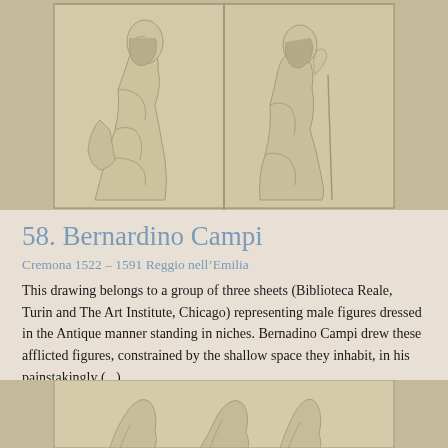[Figure (illustration): Drawing of two robed male figures in niches, shown from behind/side, in Renaissance sketch style with light chalk or pencil on cream paper]
58. Bernardino Campi
Cremona 1522 – 1591 Reggio nell'Emilia
This drawing belongs to a group of three sheets (Biblioteca Reale, Turin and The Art Institute, Chicago) representing male figures dressed in the Antique manner standing in niches. Bernadino Campi drew these afflicted figures, constrained by the shallow space they inhabit, in his painstakingly (...)
[Figure (illustration): Partial view of another drawing showing robed figures, bottom portion of the page]